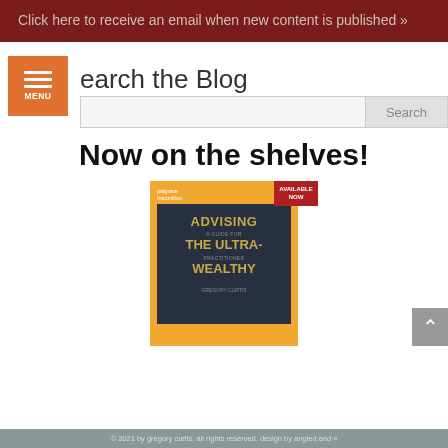Click here to receive an email when new content is published »
Search the Blog
[Figure (screenshot): Search bar with Search button]
Now on the shelves!
[Figure (photo): Book cover: Advising the Ultra-Wealthy by Gregory Curtis, published by Palgrave Macmillan. Available Now badge. Orange background with dark navy book cover showing gold title text.]
© 2021 by gregory curtis. all rights reserved. design by angled.end »